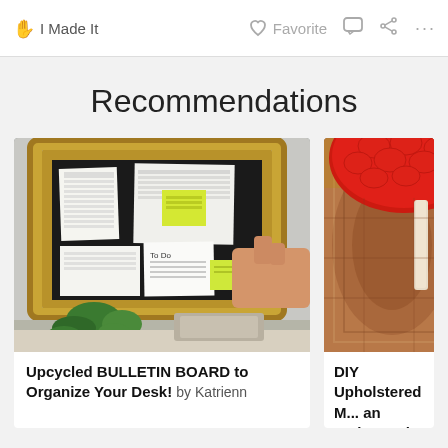✋ I Made It   ♡ Favorite   💬   ⬡   ...
Recommendations
[Figure (photo): Photo of an upcycled bulletin board mounted on wall in an ornate gold frame, with papers and sticky notes pinned to it, a person's hand reaching to pin something, and a plant below.]
Upcycled BULLETIN BOARD to Organize Your Desk! by Katrienn
[Figure (photo): Photo of a red upholstered mushroom-shaped stool with an embossed velvet strawberry design, sitting on a patterned rug.]
DIY Upholstered ... an Embossed Vel... 'Strawberry' Desi...